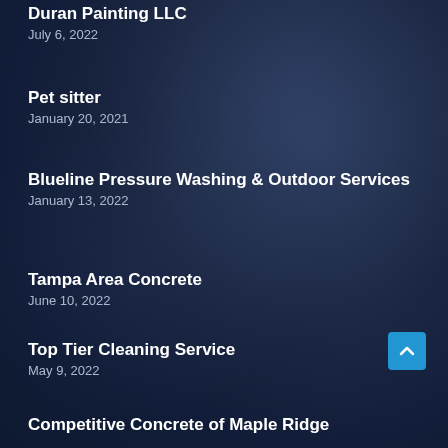Duran Painting LLC
July 6, 2022
Pet sitter
January 20, 2021
Blueline Pressure Washing & Outdoor Services
January 13, 2022
Tampa Area Concrete
June 10, 2022
Top Tier Cleaning Service
May 9, 2022
Competitive Concrete of Maple Ridge